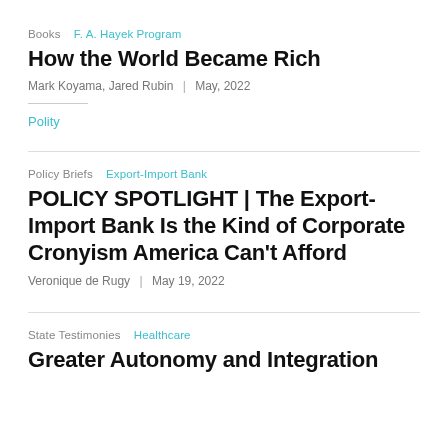Books   F. A. Hayek Program
How the World Became Rich
Mark Koyama, Jared Rubin  |  May, 2022
Polity
Policy Briefs   Export-Import Bank
POLICY SPOTLIGHT | The Export-Import Bank Is the Kind of Corporate Cronyism America Can't Afford
Veronique de Rugy  |  May 19, 2022
State Testimonies   Healthcare
Greater Autonomy and Integration